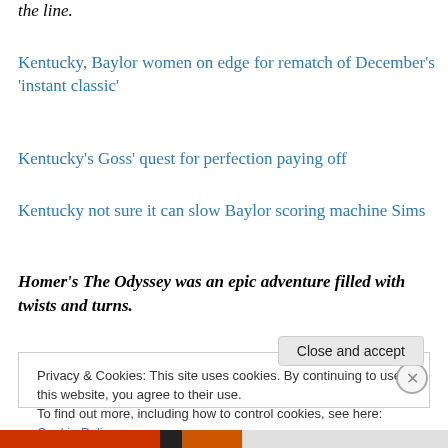the line.
Kentucky, Baylor women on edge for rematch of December's 'instant classic'
Kentucky's Goss' quest for perfection paying off
Kentucky not sure it can slow Baylor scoring machine Sims
Homer's The Odyssey was an epic adventure filled with twists and turns.
Privacy & Cookies: This site uses cookies. By continuing to use this website, you agree to their use.
To find out more, including how to control cookies, see here: Cookie Policy
Close and accept